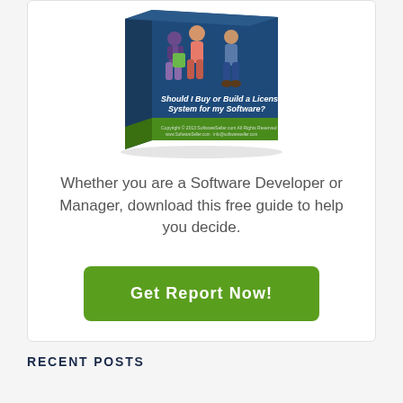[Figure (illustration): A 3D book cover titled 'Should I Buy or Build a Licensing System for my Software?' with illustrated figures of people on the cover, dark blue and green colors.]
Whether you are a Software Developer or Manager, download this free guide to help you decide.
Get Report Now!
RECENT POSTS